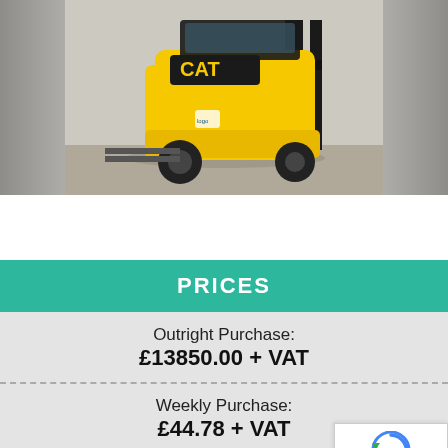[Figure (photo): Yellow CAT 15 forklift truck parked outdoors on a gravel/snowy surface. The forklift is yellow with black accents, showing the front/side view with forks lowered.]
PRICES
Outright Purchase:
£13850.00 + VAT
Weekly Purchase:
£44.78 + VAT
Contract Hire From: (Per Month)